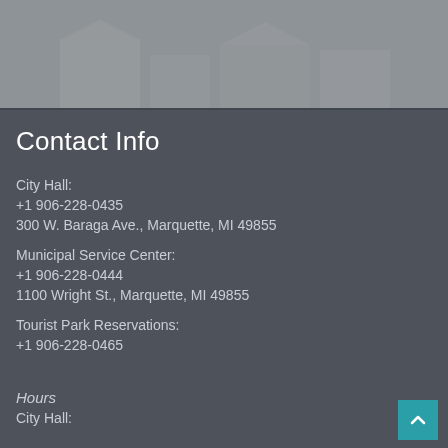[Figure (photo): Blurred outdoor photo of buildings, used as page background header image]
Contact Info
City Hall:
+1 906-228-0435
300 W. Baraga Ave., Marquette, MI 49855
Municipal Service Center:
+1 906-228-0444
1100 Wright St., Marquette, MI 49855
Tourist Park Reservations:
+1 906-228-0465
Hours
City Hall: